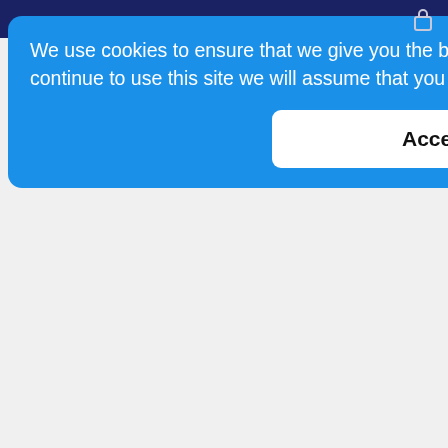[Figure (screenshot): Cookie consent popup overlay with blue background. Text reads: 'We use cookies to ensure that we give you the best experience on our website. If you continue to use this site we will assume that you are happy with it  Got it' and an Accept button below.]
usions ng ; for strict the processing of your personal data. Those circumstances are: you contest the accuracy of the personal data; processing is unlawful but you oppose erasure; we no longer need the personal data for the purposes of our processing, but you require personal data for the establishment, exercise or defense of legal claims; and you have objected to processing, pending the verification of that objection. Where processing has been restricted on this basis, we may continue to store your personal data. However, we will only otherwise